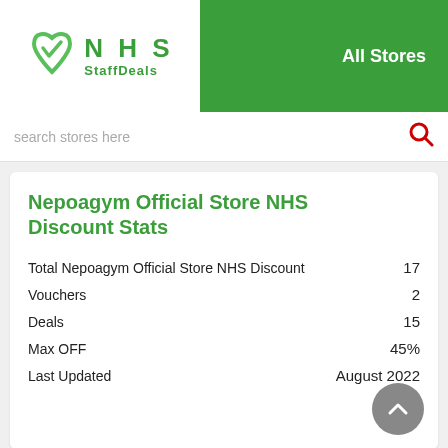[Figure (logo): NHS StaffDeals logo with green heart/checkmark icon and NHS StaffDeals text]
All Stores
search stores here
Nepoagym Official Store NHS Discount Stats
|  |  |
| --- | --- |
| Total Nepoagym Official Store NHS Discount | 17 |
| Vouchers | 2 |
| Deals | 15 |
| Max OFF | 45% |
| Last Updated | August 2022 |
Nepoagym Official Store's Most-Viewed Offers